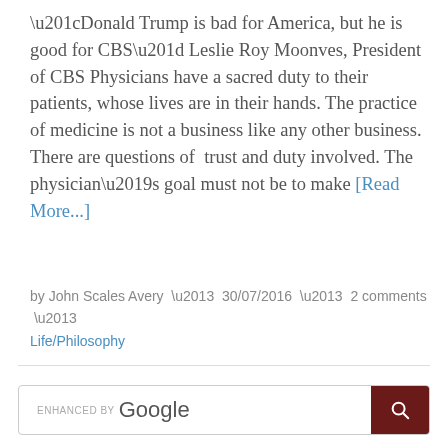“Donald Trump is bad for America, but he is good for CBS” Leslie Roy Moonves, President of CBS Physicians have a sacred duty to their patients, whose lives are in their hands. The practice of medicine is not a business like any other business. There are questions of trust and duty involved. The physician’s goal must not be to make [Read More...]
by John Scales Avery – 30/07/2016 – 2 comments – Life/Philosophy
[Figure (other): Google enhanced search box with dark red search button]